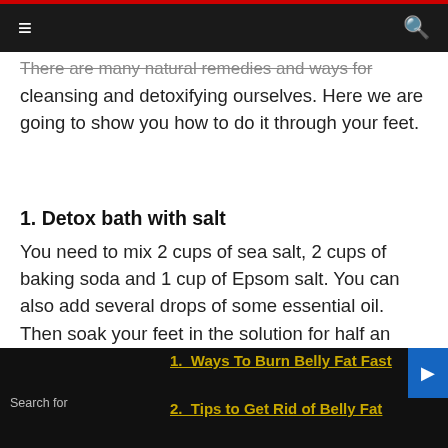≡ [menu] [search]
There are many natural remedies and ways for cleansing and detoxifying ourselves. Here we are going to show you how to do it through your feet.
1. Detox bath with salt
You need to mix 2 cups of sea salt, 2 cups of baking soda and 1 cup of Epsom salt. You can also add several drops of some essential oil. Then soak your feet in the solution for half an hour. Does it every night before you go to sleep and you will feel relaxed and happier than ever.
Search for
1. Ways To Burn Belly Fat Fast
2. Tips to Get Rid of Belly Fat